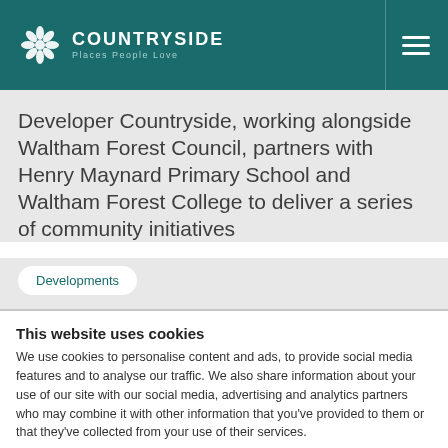COUNTRYSIDE Places People Love
Developer Countryside, working alongside Waltham Forest Council, partners with Henry Maynard Primary School and Waltham Forest College to deliver a series of community initiatives
Developments
This website uses cookies
We use cookies to personalise content and ads, to provide social media features and to analyse our traffic. We also share information about your use of our site with our social media, advertising and analytics partners who may combine it with other information that you've provided to them or that they've collected from your use of their services.